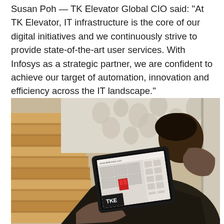Susan Poh — TK Elevator Global CIO said: "At TK Elevator, IT infrastructure is the core of our digital initiatives and we continuously strive to provide state-of-the-art user services. With Infosys as a strategic partner, we are confident to achieve our target of automation, innovation and efficiency across the IT landscape."
[Figure (photo): A person in a dark suit holding a tablet device showing a TKE (ThyssenKrupp Elevator) application with floor plan/design interface on the screen. The background shows wooden staircase steps and decorative wallpaper.]